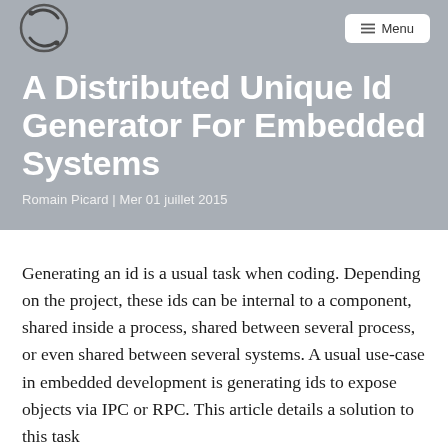Menu
A Distributed Unique Id Generator For Embedded Systems
Romain Picard | Mer 01 juillet 2015
Generating an id is a usual task when coding. Depending on the project, these ids can be internal to a component, shared inside a process, shared between several process, or even shared between several systems. A usual use-case in embedded development is generating ids to expose objects via IPC or RPC. This article details a solution to this task